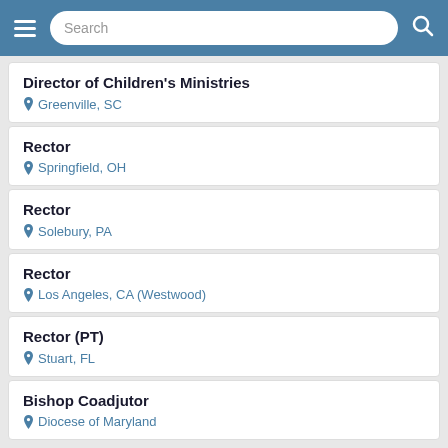Search
Director of Children's Ministries — Greenville, SC
Rector — Springfield, OH
Rector — Solebury, PA
Rector — Los Angeles, CA (Westwood)
Rector (PT) — Stuart, FL
Bishop Coadjutor — Diocese of Maryland